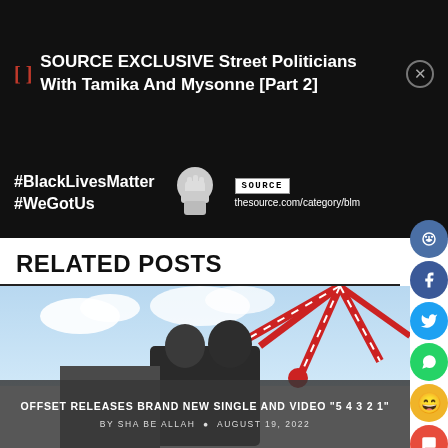[Figure (screenshot): Notification bar with SOURCE EXCLUSIVE video title]
[Figure (infographic): Black Lives Matter banner with fist graphic and SOURCE branding]
RELATED POSTS
[Figure (photo): Article card showing Offset music video still with carnival ride, overlaid with headline and author info]
OFFSET RELEASES BRAND NEW SINGLE AND VIDEO "5 4 3 2 1"
BY SHA BE ALLAH  © AUGUST 19, 2022